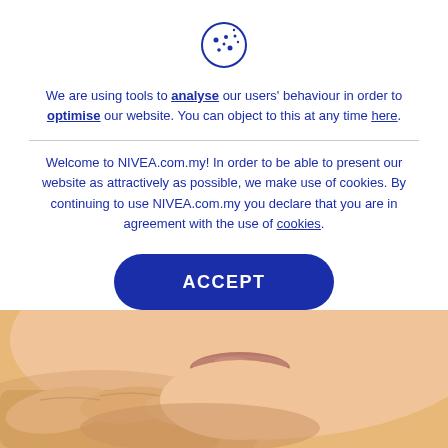[Figure (illustration): Cookie icon - a circle with dots representing a cookie/biscuit, drawn in blue outline style]
We are using tools to analyse our users' behaviour in order to optimise our website. You can object to this at any time here.
Welcome to NIVEA.com.my! In order to be able to present our website as attractively as possible, we make use of cookies. By continuing to use NIVEA.com.my you declare that you are in agreement with the use of cookies.
ACCEPT
> ADAPT
[Figure (photo): Close-up photo of a person's face resting on their hand, showing lips and chin area, warm skin tones]